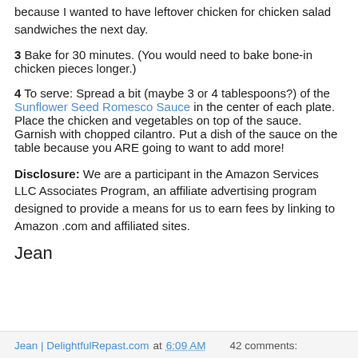because I wanted to have leftover chicken for chicken salad sandwiches the next day.
3 Bake for 30 minutes. (You would need to bake bone-in chicken pieces longer.)
4 To serve: Spread a bit (maybe 3 or 4 tablespoons?) of the Sunflower Seed Romesco Sauce in the center of each plate. Place the chicken and vegetables on top of the sauce. Garnish with chopped cilantro. Put a dish of the sauce on the table because you ARE going to want to add more!
Disclosure: We are a participant in the Amazon Services LLC Associates Program, an affiliate advertising program designed to provide a means for us to earn fees by linking to Amazon .com and affiliated sites.
Jean
Jean | DelightfulRepast.com at 6:09 AM   42 comments: